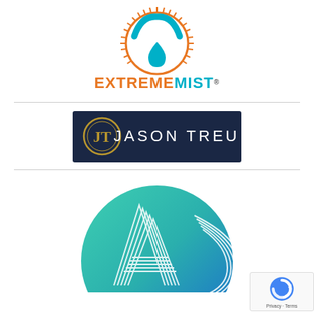[Figure (logo): ExtremeMist logo: teal/orange arch symbol with water drop and sunburst, with text EXTREMEMIST in orange and teal, registered trademark symbol]
[Figure (logo): Jason Treu logo: dark navy rectangle with gold circular JT monogram and white text JASON TREU]
[Figure (logo): ASC logo: circular gradient teal-to-blue badge with white line art letters A and C]
[Figure (logo): reCAPTCHA badge with Privacy and Terms text in bottom right corner]